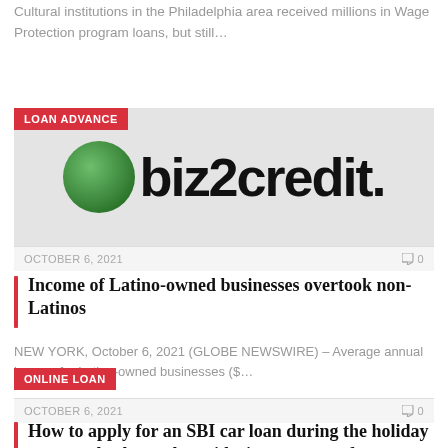Cultural institutions in the Philadelphia area received millions in Wage Protection program loans, but still…
[Figure (logo): biz2credit logo with green circle icon and bold black text on grey background, with LOAN ADVANCE red badge overlay]
OCTOBER 6, 2021   0
Income of Latino-owned businesses overtook non-Latinos
NEW YORK, October 6, 2021 (GLOBE NEWSWIRE) – Average annual income for Latino-owned businesses ($…
ONLINE LOAN
OCTOBER 6, 2021   0
How to apply for an SBI car loan during the holiday season: check out the guide, interest rate, features,